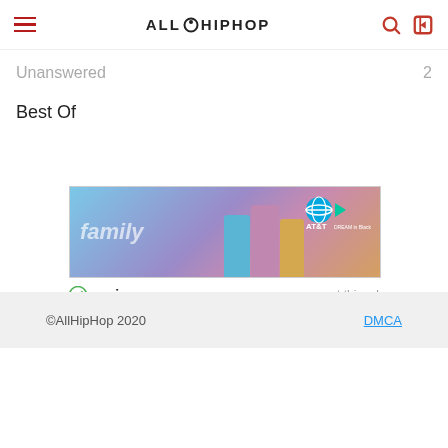AllHipHop
Unanswered
Best Of
[Figure (photo): AT&T Dream in Black advertisement banner showing three women with the word 'family' and AT&T logo]
ezoic  report this ad
©AllHipHop 2020   DMCA